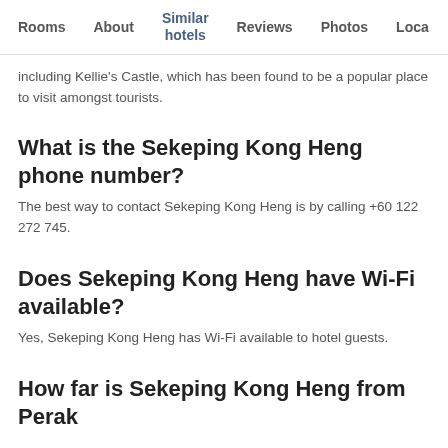Rooms | About | Similar hotels | Reviews | Photos | Loca...
including Kellie's Castle, which has been found to be a popular place to visit amongst tourists.
What is the Sekeping Kong Heng phone number?
The best way to contact Sekeping Kong Heng is by calling +60 122 272 745.
Does Sekeping Kong Heng have Wi-Fi available?
Yes, Sekeping Kong Heng has Wi-Fi available to hotel guests.
How far is Sekeping Kong Heng from Perak